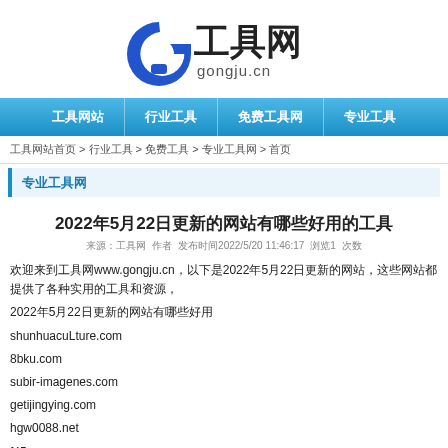[Figure (logo): 工具网 gongju.cn logo with blue G icon and Chinese/Latin text]
工具网站 | 行业工具 | 免费工具网 | 专业工具
工具网站首页 > 行业工具 > 免费工具 > 专业工具网 > 首页
专业工具网
2022年5月22日更新的网站有哪些好用的工具
来源：工具网  作者  发布时间2022/5/20 11:46:17 浏览1 次数
欢迎来到工具网www.gongju.cn，以下是2022年5月22日更新的网站，这些网站都提供了各种实用的工具和资源。
2022年5月22日更新的网站有哪些好用

shunhuacuLture.com

8bku.com

subir-imagenes.com

getijingying.com

hgw0088.net

f45.com